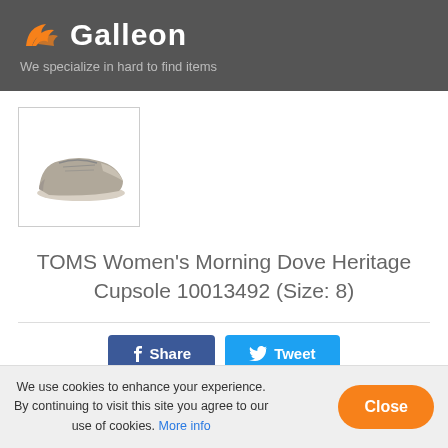[Figure (logo): Galleon logo with orange bird/flame icon and white text 'Galleon' on dark gray background]
We specialize in hard to find items
[Figure (photo): Thumbnail image of a gray TOMS women's slip-on shoe (Morning Dove Heritage Cupsole) shown at an angle]
TOMS Women's Morning Dove Heritage Cupsole 10013492 (Size: 8)
[Figure (other): Facebook Share button and Twitter Tweet button]
We use cookies to enhance your experience. By continuing to visit this site you agree to our use of cookies. More info